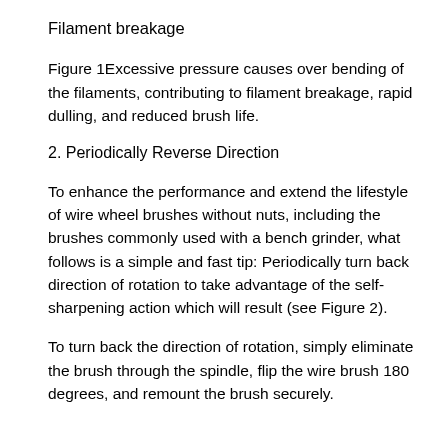Filament breakage
Figure 1Excessive pressure causes over bending of the filaments, contributing to filament breakage, rapid dulling, and reduced brush life.
2. Periodically Reverse Direction
To enhance the performance and extend the lifestyle of wire wheel brushes without nuts, including the brushes commonly used with a bench grinder, what follows is a simple and fast tip: Periodically turn back direction of rotation to take advantage of the self-sharpening action which will result (see Figure 2).
To turn back the direction of rotation, simply eliminate the brush through the spindle, flip the wire brush 180 degrees, and remount the brush securely.